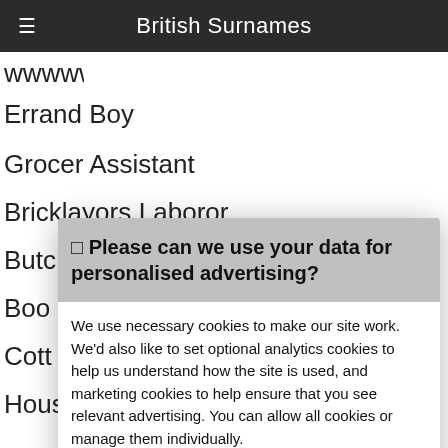British Surnames
Errand Boy
Grocer Assistant
Bricklayers Laborer
Butc
Boo
Cott
Bas
Bak
Jew
Lace
Cott
Farm
Doc
Housemaid
☐ Please can we use your data for personalised advertising?
We use necessary cookies to make our site work. We'd also like to set optional analytics cookies to help us understand how the site is used, and marketing cookies to help ensure that you see relevant advertising. You can allow all cookies or manage them individually.
More information
Accept Cookies
Customise Cookies